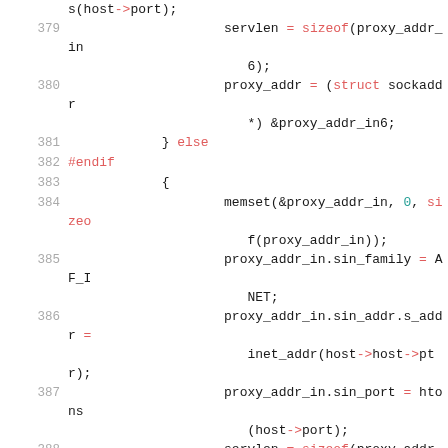[Figure (screenshot): Source code listing showing C code lines 379-392 with syntax highlighting. Line numbers in gray on left, keywords and operators in red, numeric literals in teal, identifiers in dark/black.]